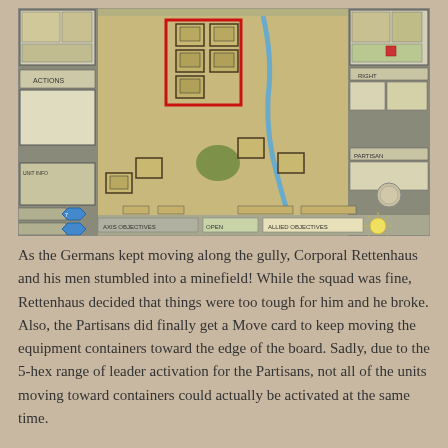[Figure (screenshot): Screenshot of a wargame interface showing a hex-based tactical map with military unit counters, terrain features including desert/grassland hexes, a river, forests, and UI panels on the sides showing unit information, actions, and game controls. Several unit counters are highlighted with a red rectangle in the upper center area.]
As the Germans kept moving along the gully, Corporal Rettenhaus and his men stumbled into a minefield! While the squad was fine, Rettenhaus decided that things were too tough for him and he broke. Also, the Partisans did finally get a Move card to keep moving the equipment containers toward the edge of the board. Sadly, due to the 5-hex range of leader activation for the Partisans, not all of the units moving toward containers could actually be activated at the same time.